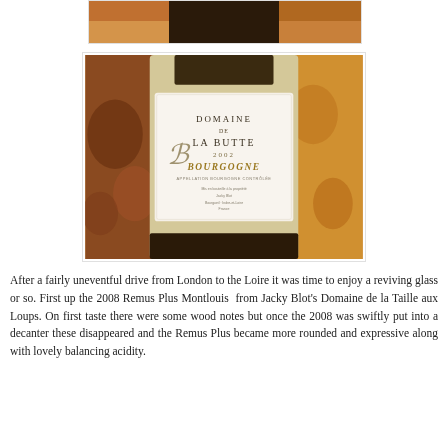[Figure (photo): Top portion of a wine bottle partially visible at the top of the page]
[Figure (photo): Close-up photo of a wine bottle label reading 'Domaine de la Butte 2002 Bourgogne' by Jacky Blot, set against a colorful patterned background]
After a fairly uneventful drive from London to the Loire it was time to enjoy a reviving glass or so. First up the 2008 Remus Plus Montlouis from Jacky Blot's Domaine de la Taille aux Loups. On first taste there were some wood notes but once the 2008 was swiftly put into a decanter these disappeared and the Remus Plus became more rounded and expressive along with lovely balancing acidity.